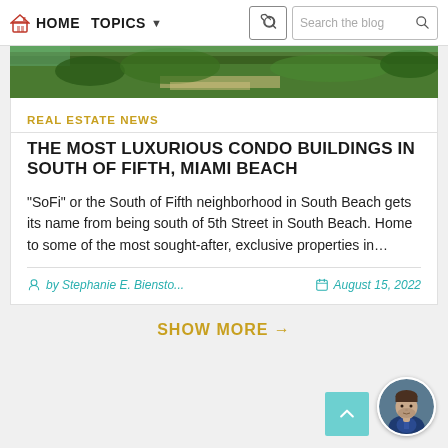HOME  TOPICS  Search the blog
[Figure (photo): Aerial view of a coastal area with green trees and beach]
REAL ESTATE NEWS
THE MOST LUXURIOUS CONDO BUILDINGS IN SOUTH OF FIFTH, MIAMI BEACH
“SoFi” or the South of Fifth neighborhood in South Beach gets its name from being south of 5th Street in South Beach. Home to some of the most sought-after, exclusive properties in…
by Stephanie E. Biensto...   August 15, 2022
SHOW MORE →